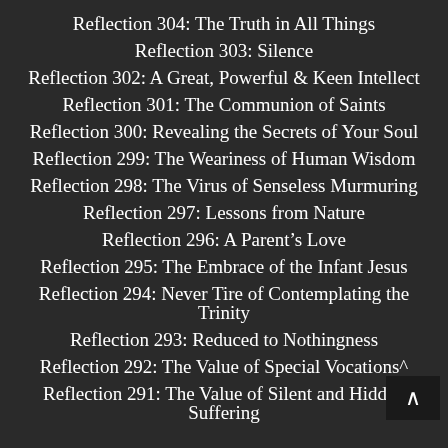Reflection 304: The Truth in All Things
Reflection 303: Silence
Reflection 302: A Great, Powerful & Keen Intellect
Reflection 301: The Communion of Saints
Reflection 300: Revealing the Secrets of Your Soul
Reflection 299: The Weariness of Human Wisdom
Reflection 298: The Virus of Senseless Murmuring
Reflection 297: Lessons from Nature
Reflection 296: A Parent’s Love
Reflection 295: The Embrace of the Infant Jesus
Reflection 294: Never Tire of Contemplating the Trinity
Reflection 293: Reduced to Nothingness
Reflection 292: The Value of Special Vocations
Reflection 291: The Value of Silent and Hidden Suffering